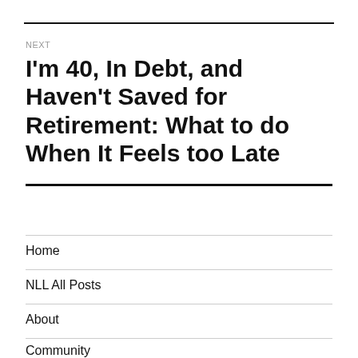NEXT
I'm 40, In Debt, and Haven't Saved for Retirement: What to do When It Feels too Late
Home
NLL All Posts
About
Community